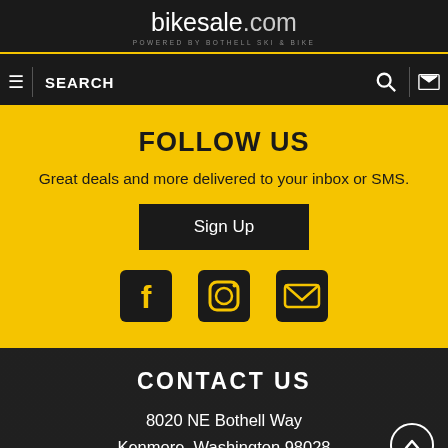bikesale.com - POWERED BY BOTHELL SKI & BIKE
SEARCH
FOLLOW US
Great deals and more delivered to your inbox or SMS.
Sign Up
[Figure (illustration): Social media icons: Facebook, Instagram, Email]
CONTACT US
8020 NE Bothell Way
Kenmore, Washington 98028